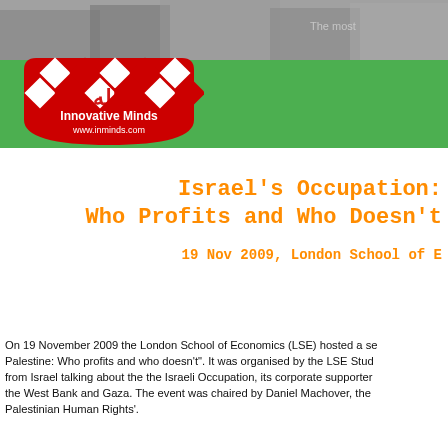[Figure (logo): Innovative Minds logo with red and white checkerboard arch pattern, Arabic calligraphy, and text 'Innovative Minds www.inminds.com' on green banner background with protest photo]
Israel's Occupation: Who Profits and Who Doesn't
19 Nov 2009, London School of Economics
On 19 November 2009 the London School of Economics (LSE) hosted a seminar entitled "Israel's Occupation of Palestine: Who profits and who doesn't". It was organised by the LSE Students' Union and featured speakers from Israel talking about the the Israeli Occupation, its corporate supporters and its effect on the people of the West Bank and Gaza. The event was chaired by Daniel Machover, the lawyer heading 'Lawyers for Palestinian Human Rights'.